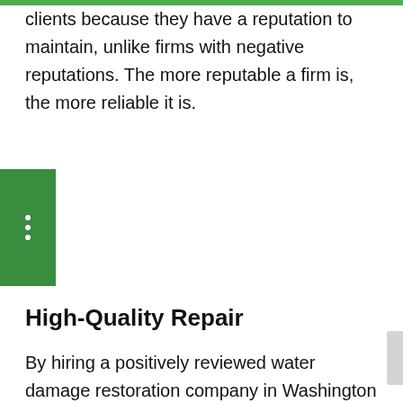clients because they have a reputation to maintain, unlike firms with negative reputations. The more reputable a firm is, the more reliable it is.
[Figure (other): Green square icon with three vertical dots (menu icon)]
High-Quality Repair
By hiring a positively reviewed water damage restoration company in Washington DC, you'd be doing yourself a huge favor. This is because positively reviewed firms tend to offer high-quality repairs. If the source of your water damage isn't repaired efficiently, you'll find yourself frequently needing the assistance of water damage restoration experts. As positively reviewed firms normally provide their